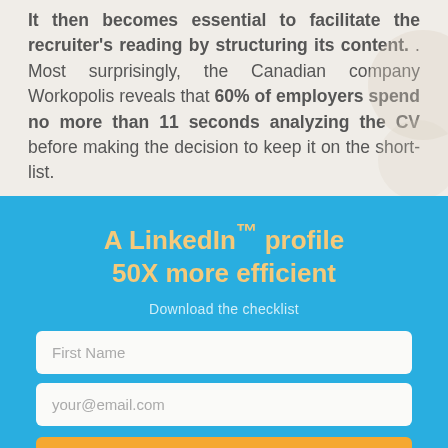It then becomes essential to facilitate the recruiter's reading by structuring its content. Most surprisingly, the Canadian company Workopolis reveals that 60% of employers spend no more than 11 seconds analyzing the CV before making the decision to keep it on the short-list.
A LinkedIn™ profile 50X more efficient
Download the checklist
First Name
your@email.com